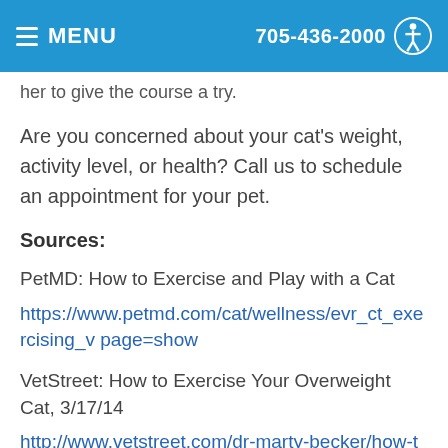MENU  705-436-2000
her to give the course a try.
Are you concerned about your cat's weight, activity level, or health? Call us to schedule an appointment for your pet.
Sources:
PetMD: How to Exercise and Play with a Cat
https://www.petmd.com/cat/wellness/evr_ct_exercising_v page=show
VetStreet: How to Exercise Your Overweight Cat, 3/17/14
http://www.vetstreet.com/dr-marty-becker/how-to-exercise-your-overweight-cat